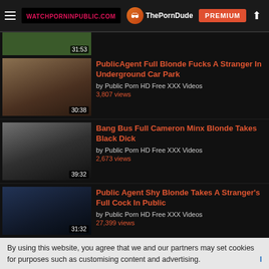WATCHPORNINPUBLIC.COM | ThePornDude | PREMIUM
[Figure (screenshot): Partial video thumbnail at top, duration 31:53]
PublicAgent Full Blonde Fucks A Stranger In Underground Car Park
by Public Porn HD Free XXX Videos
3,807 views
30:38
Bang Bus Full Cameron Minx Blonde Takes Black Dick
by Public Porn HD Free XXX Videos
2,673 views
39:32
Public Agent Shy Blonde Takes A Stranger's Full Cock In Public
by Public Porn HD Free XXX Videos
27,399 views
31:32
By using this website, you agree that we and our partners may set cookies for purposes such as customising content and advertising.
Understand
PublicAgent Full Vinna Reed Holiday Car Sex for Hot Blonde